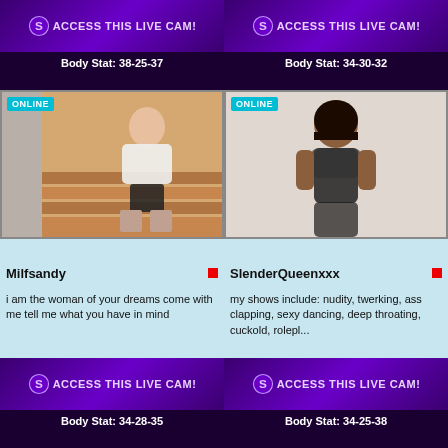ACCESS THIS LIVE CAM! (top left)
ACCESS THIS LIVE CAM! (top right)
Body Stat: 38-25-37
Body Stat: 34-30-32
[Figure (photo): Woman in white shirt and black skirt sitting on stairs, ONLINE badge]
[Figure (photo): Woman in black lingerie, ONLINE badge]
Milfsandy
SlenderQueenxxx
i am the woman of your dreams come with me tell me what you have in mind
my shows include: nudity, twerking, ass clapping, sexy dancing, deep throating, cuckold, rolepl...
ACCESS THIS LIVE CAM! (bottom left)
ACCESS THIS LIVE CAM! (bottom right)
Body Stat: 34-28-35
Body Stat: 34-25-38